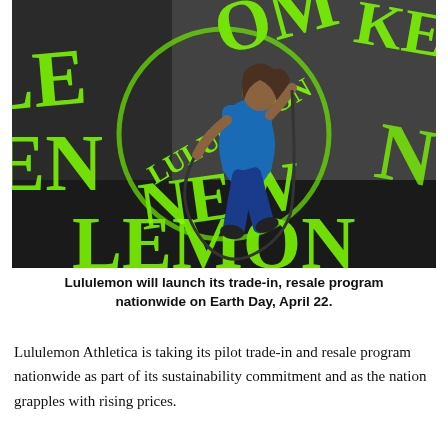[Figure (photo): A woman in blue athletic wear sprinting dynamically in a gym setting. The background features large neon green graffiti-style text reading 'LULULEMON NEW LEMON' in various orientations on a dark background.]
Lululemon will launch its trade-in, resale program nationwide on Earth Day, April 22.
Lululemon Athletica is taking its pilot trade-in and resale program nationwide as part of its sustainability commitment and as the nation grapples with rising prices.